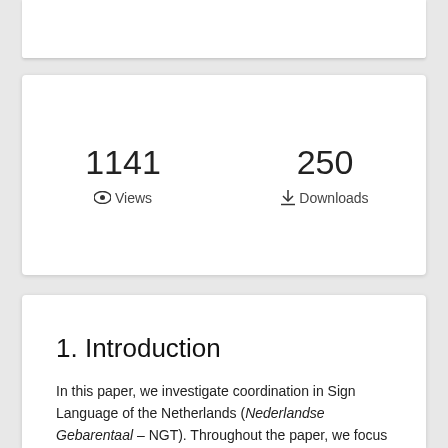[Figure (infographic): Stats card showing 1141 Views and 250 Downloads]
1.  Introduction
In this paper, we investigate coordination in Sign Language of the Netherlands (Nederlandse Gebarentaal – NGT). Throughout the paper, we focus on conjunctive